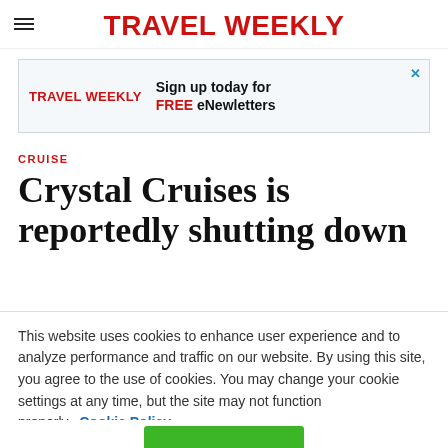TRAVEL WEEKLY
[Figure (other): Travel Weekly advertisement banner: 'TRAVEL WEEKLY — Sign up today for FREE eNewletters' with a close (X) button]
CRUISE
Crystal Cruises is reportedly shutting down
This website uses cookies to enhance user experience and to analyze performance and traffic on our website. By using this site, you agree to the use of cookies. You may change your cookie settings at any time, but the site may not function properly. Cookie Policy